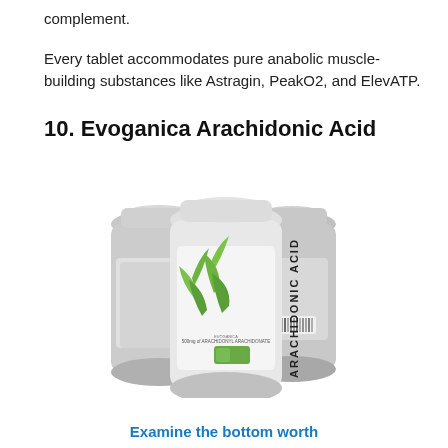complement.
Every tablet accommodates pure anabolic muscle-building substances like Astragin, PeakO2, and ElevATP.
10. Evoganica Arachidonic Acid
[Figure (photo): Three supplement bottles of Evoganica Arachidonic Acid, white/silver bottles with green bamboo plant design and black vertical text reading ARACHIDONIC ACID]
Examine the bottom worth